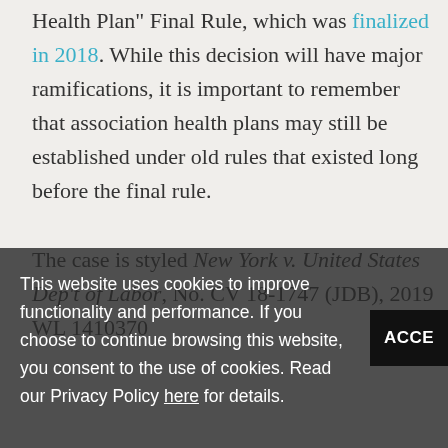Health Plan" Final Rule, which was finalized in 2018. While this decision will have major ramifications, it is important to remember that association health plans may still be established under old rules that existed long before the final rule.

The case is styled New York v. United States Dep't of Labor, No. CV 18-1747 (JDB), 2019 WL 1410370
This website uses cookies to improve functionality and performance. If you choose to continue browsing this website, you consent to the use of cookies. Read our Privacy Policy here for details.